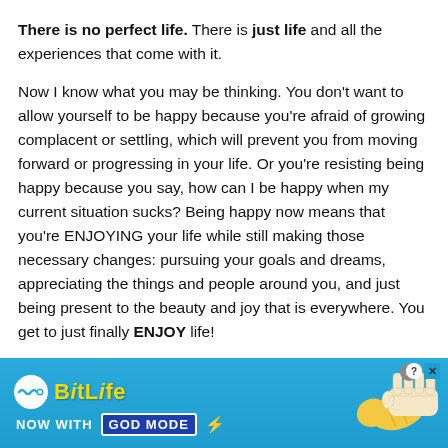There is no perfect life. There is just life and all the experiences that come with it.
Now I know what you may be thinking. You don't want to allow yourself to be happy because you're afraid of growing complacent or settling, which will prevent you from moving forward or progressing in your life. Or you're resisting being happy because you say, how can I be happy when my current situation sucks? Being happy now means that you're ENJOYING your life while still making those necessary changes: pursuing your goals and dreams, appreciating the things and people around you, and just being present to the beauty and joy that is everywhere. You get to just finally ENJOY life!
[Figure (infographic): BitLife mobile game advertisement banner with blue background. Shows BitLife logo with tagline 'NOW WITH GOD MODE' and a pointing hand cartoon graphic. Has close and help buttons in top right corner.]